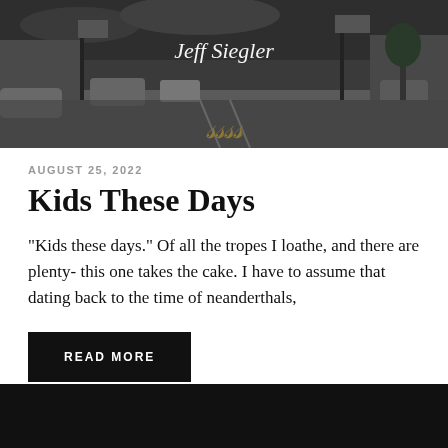[Figure (photo): Black and white photograph of a suburban road/strip mall scene with cars and commercial signage. Text overlay reads 'Jeff Siegler' in white and decorative gold script lettering at the bottom.]
AUGUST 25, 2022
Kids These Days
“Kids these days.” Of all the tropes I loathe, and there are plenty- this one takes the cake. I have to assume that dating back to the time of neanderthals,
READ MORE